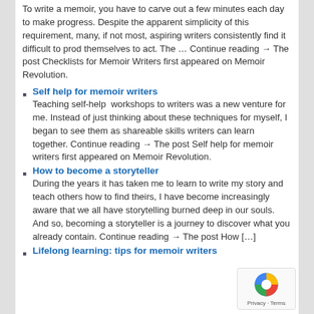To write a memoir, you have to carve out a few minutes each day to make progress. Despite the apparent simplicity of this requirement, many, if not most, aspiring writers consistently find it difficult to prod themselves to act. The … Continue reading → The post Checklists for Memoir Writers first appeared on Memoir Revolution.
Self help for memoir writers
Teaching self-help  workshops to writers was a new venture for me. Instead of just thinking about these techniques for myself, I began to see them as shareable skills writers can learn together. Continue reading → The post Self help for memoir writers first appeared on Memoir Revolution.
How to become a storyteller
During the years it has taken me to learn to write my story and teach others how to find theirs, I have become increasingly aware that we all have storytelling burned deep in our souls. And so, becoming a storyteller is a journey to discover what you already contain. Continue reading → The post How […]
Lifelong learning: tips for memoir writers